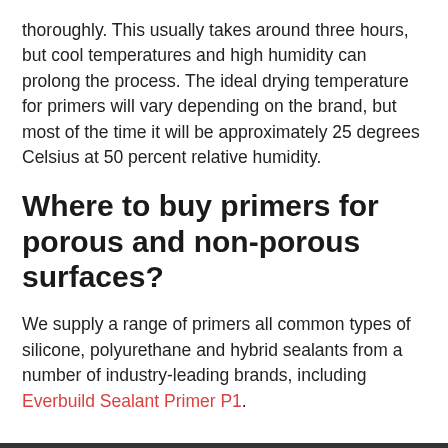thoroughly. This usually takes around three hours, but cool temperatures and high humidity can prolong the process. The ideal drying temperature for primers will vary depending on the brand, but most of the time it will be approximately 25 degrees Celsius at 50 percent relative humidity.
Where to buy primers for porous and non-porous surfaces?
We supply a range of primers all common types of silicone, polyurethane and hybrid sealants from a number of industry-leading brands, including Everbuild Sealant Primer P1.